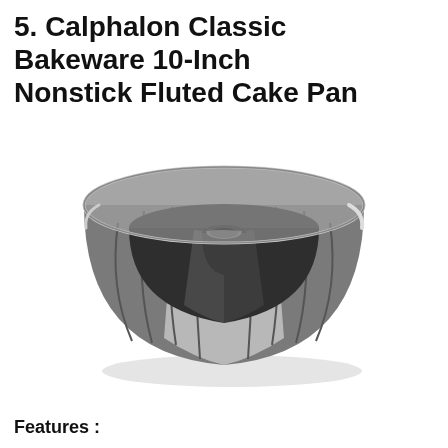5. Calphalon Classic Bakeware 10-Inch Nonstick Fluted Cake Pan
[Figure (photo): A Calphalon Classic Bakeware 10-inch nonstick fluted bundt cake pan in dark gray/charcoal color, photographed from a slight angle showing the fluted sides, center tube, and shadow beneath the pan on a white background.]
Features :